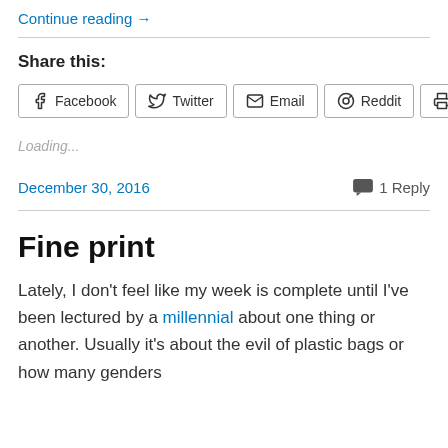Continue reading →
Share this:
[Figure (other): Social share buttons: Facebook, Twitter, Email, Reddit, Print]
Loading...
December 30, 2016
1 Reply
Fine print
Lately, I don't feel like my week is complete until I've been lectured by a millennial about one thing or another. Usually it's about the evil of plastic bags or how many genders